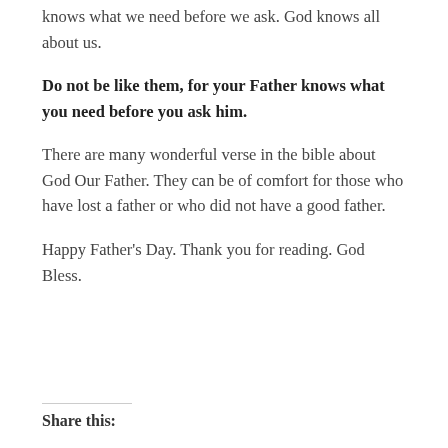knows what we need before we ask. God knows all about us.
Do not be like them, for your Father knows what you need before you ask him.
There are many wonderful verse in the bible about God Our Father. They can be of comfort for those who have lost a father or who did not have a good father.
Happy Father's Day. Thank you for reading. God Bless.
Share this: